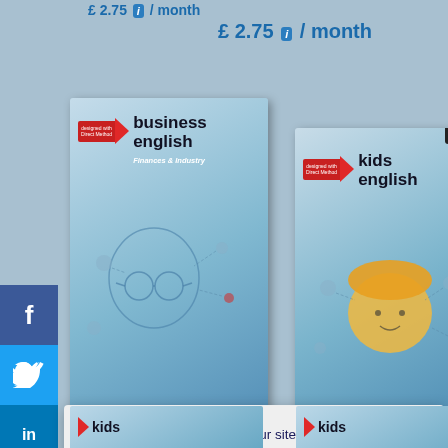£ 2.75 i / month
£ 2.75 i / month
[Figure (illustration): Business English book cover with blue background, red arrow logo, 'Designed with Direct Method' badge, title 'business english', subtitle 'Finances & Industry', and illustrated figure of person with glasses]
[Figure (illustration): Kids English book cover with blue background, red arrow logo, 'Designed with Direct Method' badge, title 'kids english', and illustrated cartoon child figure]
We use cookies to optimise our site, analyse site usage and assist in our marketing efforts. By using this site you agree to our cookie policy .
I understand
[Figure (illustration): Partial kids book cover thumbnail at bottom left]
[Figure (illustration): Partial kids book cover thumbnail at bottom right]